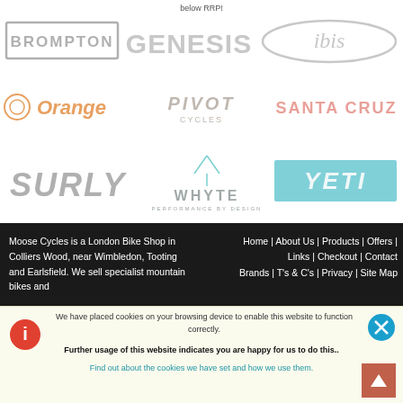below RRP!
[Figure (logo): Brompton logo - rectangular border with BROMPTON text]
[Figure (logo): Genesis logo - large bold text]
[Figure (logo): Ibis logo - oval border with italic ibis text]
[Figure (logo): Orange logo - orange circular icon with Orange text]
[Figure (logo): Pivot Cycles logo - angular styled text]
[Figure (logo): Santa Cruz logo - red text]
[Figure (logo): Surly logo - bold italic gray text]
[Figure (logo): Whyte Performance by Design logo]
[Figure (logo): Yeti logo - teal/cyan rectangle with YETI text]
Moose Cycles is a London Bike Shop in Colliers Wood, near Wimbledon, Tooting and Earlsfield. We sell specialist mountain bikes and
Home | About Us | Products | Offers | Links | Checkout | Contact Brands | T's & C's | Privacy | Site Map
We have placed cookies on your browsing device to enable this website to function correctly.
Further usage of this website indicates you are happy for us to do this..
Find out about the cookies we have set and how we use them.